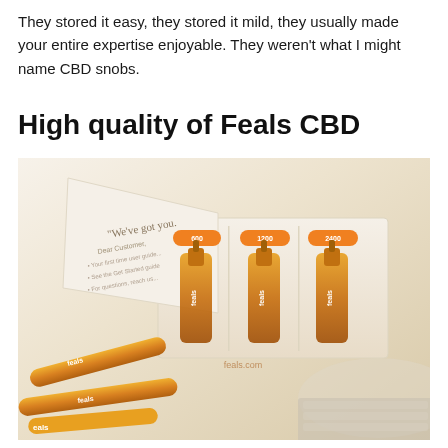They stored it easy, they stored it mild, they usually made your entire expertise enjoyable. They weren't what I might name CBD snobs.
High quality of Feals CBD
[Figure (photo): Product photo of Feals CBD oil dropper bottles in a white open box packaging showing three dropper bottles labeled with different dosages (600, 1200, 2400), alongside loose amber-colored dropper bottles scattered on a light surface. The text 'feals.com' is visible on the box.]